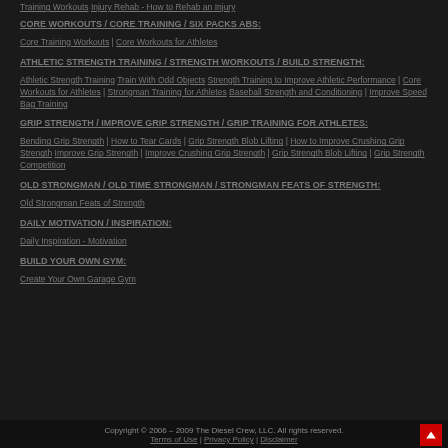Training Workouts Injury Rehab - How to Rehab an Injury
CORE WORKOUTS / CORE TRAINING / SIX PACKS ABS:
Core Training Workouts | Core Workouts for Athletes
ATHLETIC STRENGTH TRAINING / STRENGTH WORKOUTS / BUILD STRENGTH:
Athletic Strength Training Train With Odd Objects Strength Training to Improve Athletic Performance | Core Workouts for Athletes | Strongman Training for Athletes Baseball Strength and Conditioning | Improve Speed Bag Training
GRIP STRENGTH / IMPROVE GRIP STRENGTH / GRIP TRAINING FOR ATHLETES:
Bending Grip Strength | How to Tear Cards | Grip Strength Blob Lifting | How to Improve Crushing Grip Strength Improve Grip Strength | Improve Crushing Grip Strength | Grip Strength Blob Lifting | Grip Strength Competition
OLD STRONGMAN / OLD TIME STRONGMAN / STRONGMAN FEATS OF STRENGTH:
Old Strongman Feats of Strength
DAILY MOTIVATION / INSPIRATION:
Daily Inspiration - Motivation
BUILD YOUR OWN GYM:
Create Your Own Garage Gym
Copyright © 2006 – 2009 The Diesel Crew, LLC. All rights reserved. Terms of Use | Privacy Policy | Disclaimer